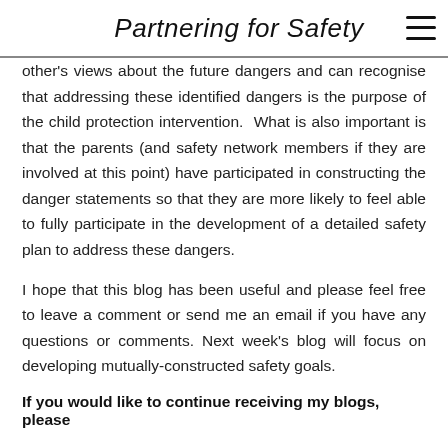Partnering for Safety
other's views about the future dangers and can recognise that addressing these identified dangers is the purpose of the child protection intervention.  What is also important is that the parents (and safety network members if they are involved at this point) have participated in constructing the danger statements so that they are more likely to feel able to fully participate in the development of a detailed safety plan to address these dangers.
I hope that this blog has been useful and please feel free to leave a comment or send me an email if you have any questions or comments. Next week’s blog will focus on developing mutually-constructed safety goals.
If you would like to continue receiving my blogs, please